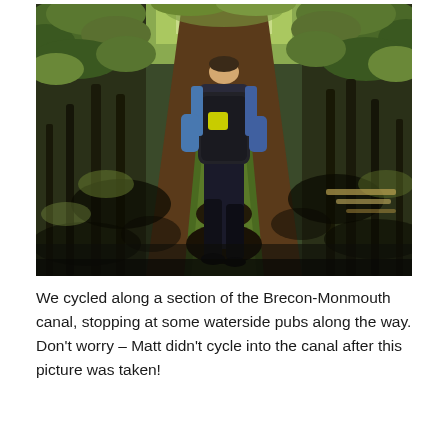[Figure (photo): A person walking away from the camera through rows of grapevines in a vineyard. The person is wearing a blue checked shirt and carrying a large black backpack. The vineyard rows have brown mulched soil and patches of green grass, with dappled sunlight creating shadows. Trees and vines line both sides of the path.]
We cycled along a section of the Brecon-Monmouth canal, stopping at some waterside pubs along the way.  Don't worry – Matt didn't cycle into the canal after this picture was taken!